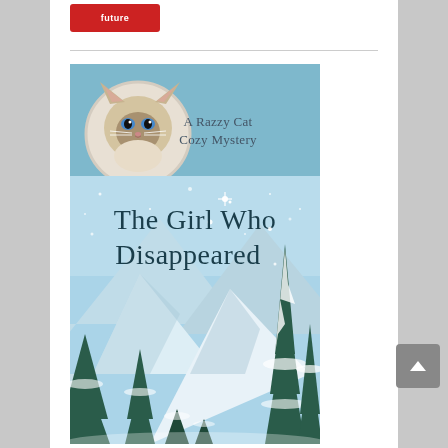[Figure (illustration): Red button/badge at top of white content area, partially visible, with white text 'future' or similar label]
[Figure (illustration): Book cover for 'The Girl Who Disappeared - A Razzy Cat Cozy Mystery'. Features a Ragdoll/Himalayan cat in a circular frame on a teal/blue banner at top with text 'A Razzy Cat Cozy Mystery'. Lower portion shows a winter scene with snow-capped mountains, snow-covered pine trees, and snowflakes on a light blue sky background. Large dark teal serif text reads 'The Girl Who Disappeared'.]